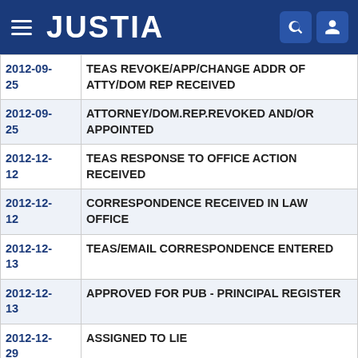JUSTIA
| Date | Event |
| --- | --- |
| 2012-09-25 | TEAS REVOKE/APP/CHANGE ADDR OF ATTY/DOM REP RECEIVED |
| 2012-09-25 | ATTORNEY/DOM.REP.REVOKED AND/OR APPOINTED |
| 2012-12-12 | TEAS RESPONSE TO OFFICE ACTION RECEIVED |
| 2012-12-12 | CORRESPONDENCE RECEIVED IN LAW OFFICE |
| 2012-12-13 | TEAS/EMAIL CORRESPONDENCE ENTERED |
| 2012-12-13 | APPROVED FOR PUB - PRINCIPAL REGISTER |
| 2012-12-29 | ASSIGNED TO LIE |